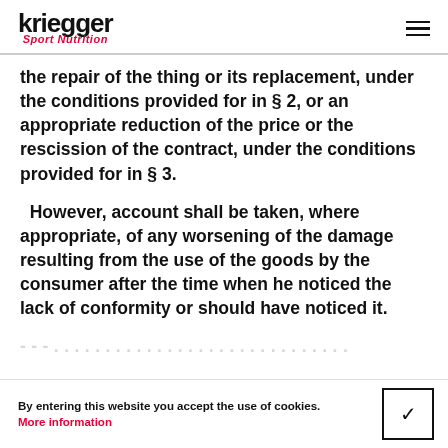kriegger Sport Nutrition
the repair of the thing or its replacement, under the conditions provided for in § 2, or an appropriate reduction of the price or the rescission of the contract, under the conditions provided for in § 3.
However, account shall be taken, where appropriate, of any worsening of the damage resulting from the use of the goods by the consumer after the time when he noticed the lack of conformity or should have noticed it.
(partial cut-off text at bottom)
By entering this website you accept the use of cookies. More information